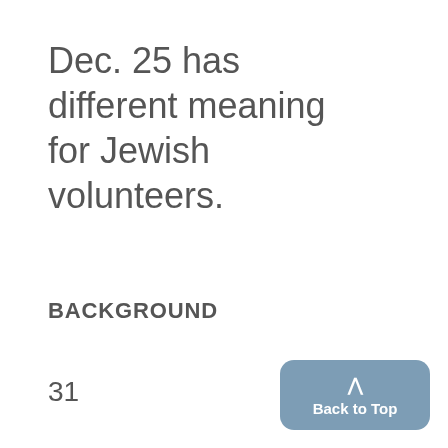Dec. 25 has different meaning for Jewish volunteers.
BACKGROUND
31
Would Saddam attack Israel to get out